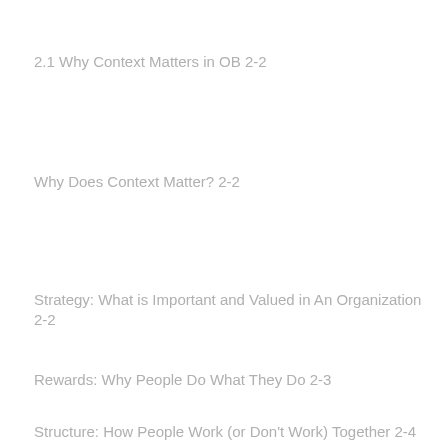2.1 Why Context Matters in OB 2-2
Why Does Context Matter? 2-2
Strategy: What is Important and Valued in An Organization 2-2
Rewards: Why People Do What They Do 2-3
Structure: How People Work (or Don't Work) Together 2-4